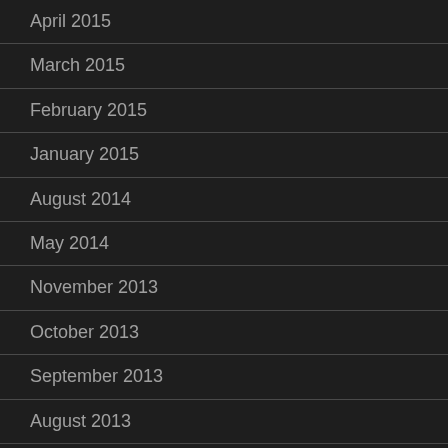April 2015
March 2015
February 2015
January 2015
August 2014
May 2014
November 2013
October 2013
September 2013
August 2013
July 2013